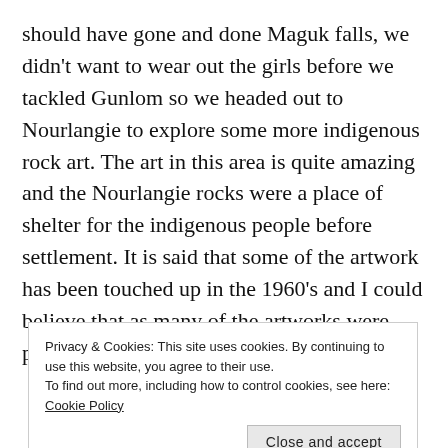should have gone and done Maguk falls, we didn't want to wear out the girls before we tackled Gunlom so we headed out to Nourlangie to explore some more indigenous rock art.  The art in this area is quite amazing and the Nourlangie rocks were a place of shelter for the indigenous people before settlement.  It is said that some of the artwork has been touched up in the 1960's and I could believe that as many of the artworks were particularly vibrant.
[Figure (photo): Partial view of photos showing outdoor scenery, partially obscured by cookie consent banner]
Privacy & Cookies: This site uses cookies. By continuing to use this website, you agree to their use.
To find out more, including how to control cookies, see here: Cookie Policy